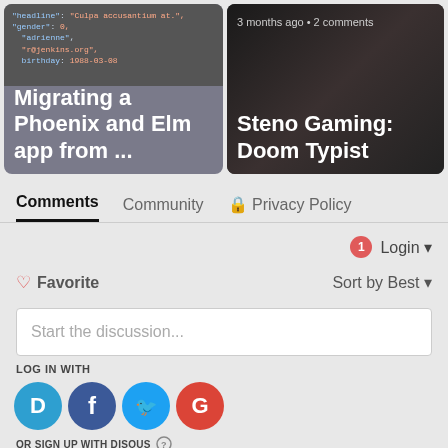[Figure (screenshot): Card showing code snippet with text 'Migrating a Phoenix and Elm app from ...' on gray background]
[Figure (screenshot): Dark card with '3 months ago • 2 comments' and title 'Steno Gaming: Doom Typist']
Comments	Community	🔒 Privacy Policy
🔔 1   Login ▾
♡ Favorite	Sort by Best ▾
Start the discussion...
LOG IN WITH
[Figure (infographic): Social login icons: Disqus (D), Facebook (f), Twitter bird, Google (G)]
OR SIGN UP WITH DISQUS ?
Name